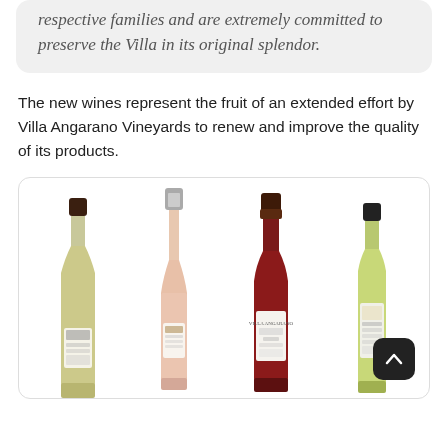respective families and are extremely committed to preserve the Villa in its original splendor.
The new wines represent the fruit of an extended effort by Villa Angarano Vineyards to renew and improve the quality of its products.
[Figure (photo): Four wine/oil bottles side by side in a rounded box: a squat white wine bottle with dark cap and Villa Angarano label, a tall slender rosé bottle with silver cap, a red wine bottle with dark brown cap and Villa Angarano label, and a square olive oil or white wine bottle with green contents and label. A back-to-top button (dark rounded square with up chevron) is overlaid at the lower right.]